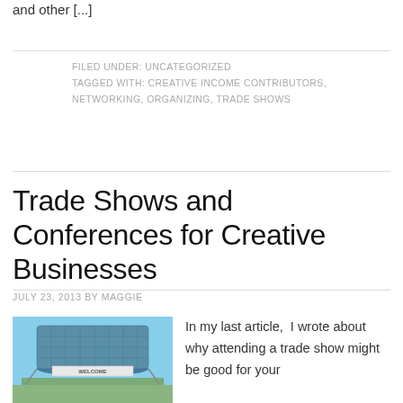and other [...]
FILED UNDER: UNCATEGORIZED
TAGGED WITH: CREATIVE INCOME CONTRIBUTORS, NETWORKING, ORGANIZING, TRADE SHOWS
Trade Shows and Conferences for Creative Businesses
JULY 23, 2013 BY MAGGIE
[Figure (photo): Exterior photo of a large cylindrical glass convention center building with a 'WELCOME' banner displayed on it.]
In my last article,  I wrote about why attending a trade show might be good for your